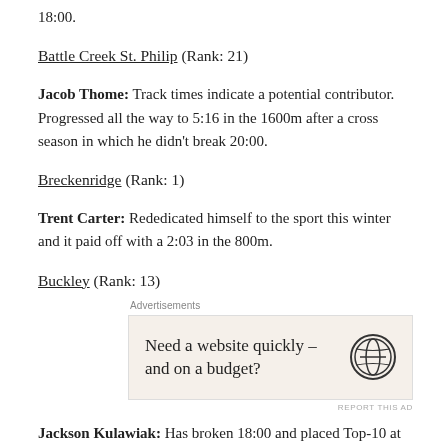18:00.
Battle Creek St. Philip (Rank: 21)
Jacob Thome: Track times indicate a potential contributor. Progressed all the way to 5:16 in the 1600m after a cross season in which he didn't break 20:00.
Breckenridge (Rank: 1)
Trent Carter: Rededicated himself to the sport this winter and it paid off with a 2:03 in the 800m.
Buckley (Rank: 13)
[Figure (other): WordPress advertisement: Need a website quickly – and on a budget?]
Jackson Kulawiak: Has broken 18:00 and placed Top-10 at Regionals in both of his seasons.  This spring, he appeared to have some mid-distance ability, going 54.8/2:07.